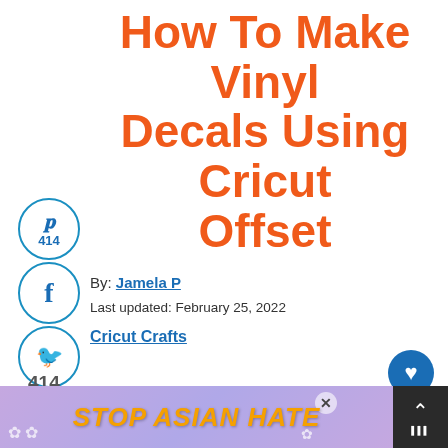How To Make Vinyl Decals Using Cricut Offset
By: Jamela P
Last updated: February 25, 2022
Cricut Crafts
414
SHARES
429
WHAT'S NEXT → How To Make A Multi-Colo...
**This post and some photos may
[Figure (screenshot): Ad banner with text STOP ASIAN HATE in orange bold italic on purple/lavender background with floral decorations and a cartoon character]